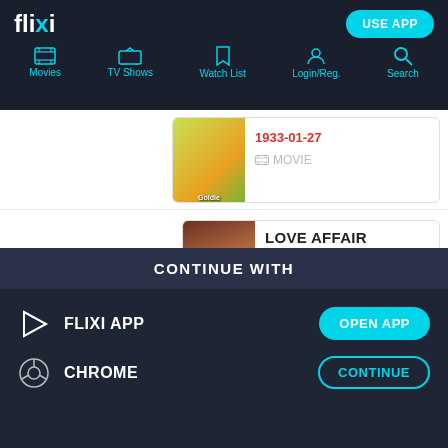flixi — USE APP | Movies | TV Shows | Watch List | Login/Reg. | Search
1933 — [partial card] LOVE AFFAIR / Goldie Gets Along — 1933-01-27 — MOVIE
1932 — Jim's Secretary (uncredited) — LOVE AFFAIR — 1932-03-17 — MOVIE
1931 — Eleanor — THE AGE FOR LOVE
CONTINUE WITH
FLIXI APP — OPEN APP
CHROME — CONTINUE